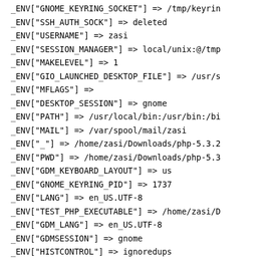_ENV["GNOME_KEYRING_SOCKET"] => /tmp/keyrin
_ENV["SSH_AUTH_SOCK"] => deleted
_ENV["USERNAME"] => zasi
_ENV["SESSION_MANAGER"] => local/unix:@/tmp
_ENV["MAKELEVEL"] => 1
_ENV["GIO_LAUNCHED_DESKTOP_FILE"] => /usr/s
_ENV["MFLAGS"] =>
_ENV["DESKTOP_SESSION"] => gnome
_ENV["PATH"] => /usr/local/bin:/usr/bin:/bi
_ENV["MAIL"] => /var/spool/mail/zasi
_ENV["_"] => /home/zasi/Downloads/php-5.3.2
_ENV["PWD"] => /home/zasi/Downloads/php-5.3
_ENV["GDM_KEYBOARD_LAYOUT"] => us
_ENV["GNOME_KEYRING_PID"] => 1737
_ENV["LANG"] => en_US.UTF-8
_ENV["TEST_PHP_EXECUTABLE"] => /home/zasi/D
_ENV["GDM_LANG"] => en_US.UTF-8
_ENV["GDMSESSION"] => gnome
_ENV["HISTCONTROL"] => ignoredups